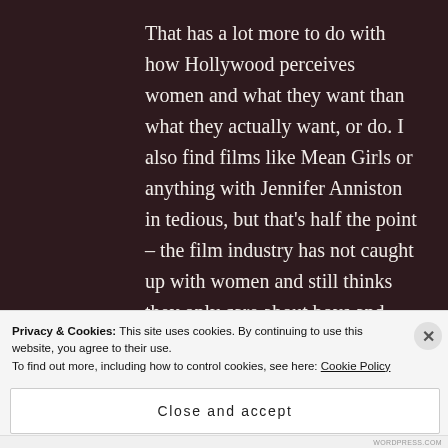That has a lot more to do with how Hollywood perceives women and what they want than what they actually want, or do. I also find films like Mean Girls or anything with Jennifer Anniston in tedious, but that's half the point – the film industry has not caught up with women and still thinks they only care about boys and make-up. If there were more films about strong female characters (ideally written by women,
Privacy & Cookies: This site uses cookies. By continuing to use this website, you agree to their use.
To find out more, including how to control cookies, see here: Cookie Policy
Close and accept